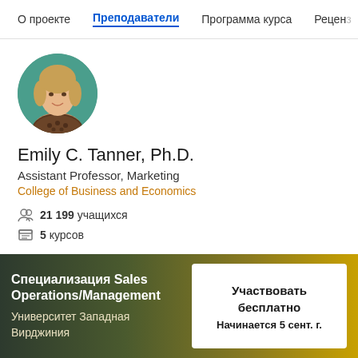О проекте   Преподаватели   Программа курса   Рецензи
[Figure (photo): Circular profile photo of Emily C. Tanner, a woman with blonde hair wearing a patterned top, with a teal/green background]
Emily C. Tanner, Ph.D.
Assistant Professor, Marketing
College of Business and Economics
21 199 учащихся
5 курсов
Специализация Sales Operations/Management
Университет Западная Вирджиния
Участвовать бесплатно
Начинается 5 сент. г.